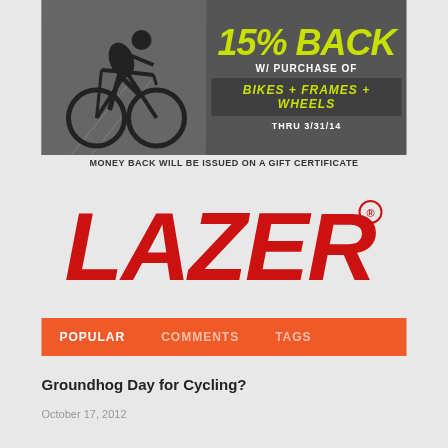[Figure (infographic): Cycling promotional banner ad: black and white cyclist on road bike on left side, yellow-green text '15% BACK' in large bold italic, 'W/ PURCHASE OF' in white, 'BIKES + FRAMES + WHEELS' in yellow-green on dark background, 'THRU 3/31/14' in white below]
MONEY BACK WILL BE ISSUED ON A GIFT CERTIFICATE
[Figure (logo): LAZER brand logo in large bold red italic text with registered trademark symbol]
POPULAR   COMMENTS   TAGS
Groundhog Day for Cycling?
October 17, 2012